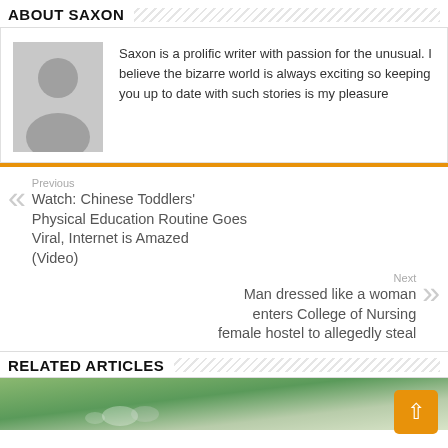ABOUT SAXON
[Figure (illustration): Grey placeholder avatar silhouette of a person]
Saxon is a prolific writer with passion for the unusual. I believe the bizarre world is always exciting so keeping you up to date with such stories is my pleasure
Previous
Watch: Chinese Toddlers' Physical Education Routine Goes Viral, Internet is Amazed (Video)
Next
Man dressed like a woman enters College of Nursing female hostel to allegedly steal
RELATED ARTICLES
[Figure (photo): Outdoor scene with greenery and what appears to be animals or objects on ground]